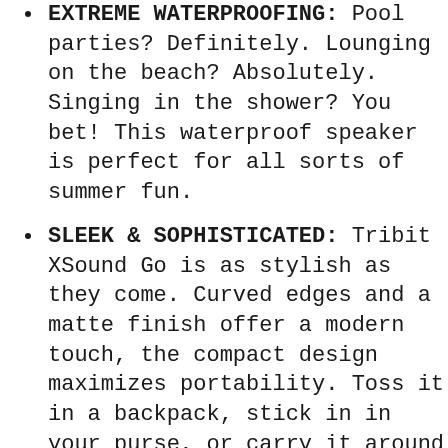EXTREME WATERPROOFING: Pool parties? Definitely. Lounging on the beach? Absolutely. Singing in the shower? You bet! This waterproof speaker is perfect for all sorts of summer fun.
SLEEK & SOPHISTICATED: Tribit XSound Go is as stylish as they come. Curved edges and a matte finish offer a modern touch, the compact design maximizes portability. Toss it in a backpack, stick in in your purse, or carry it around with the attached strap.
ALL DAY PLAY: Keep the music pumping all day (and all night) long. The powerful battery guarantees up to 24 hours of continuous use! You'll be able to enjoy your favorite songs whenever